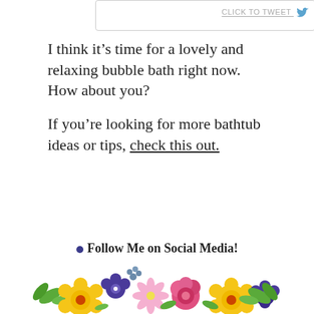[Figure (screenshot): Tweet box with 'CLICK TO TWEET' button and bird icon in top right corner]
I think it's time for a lovely and relaxing bubble bath right now. How about you?
If you're looking for more bathtub ideas or tips, check this out.
[Figure (illustration): Floral decorative footer with 'Follow Me on Social Media!' text and colorful watercolor flowers including yellow, pink, purple/blue flowers with green leaves]